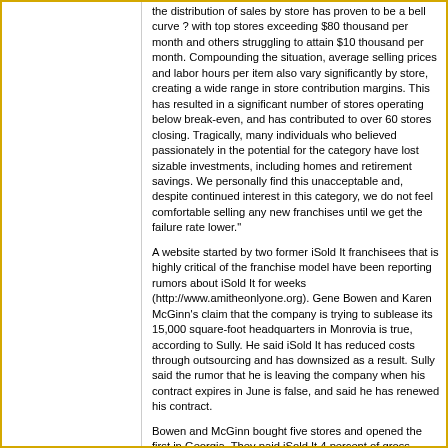the distribution of sales by store has proven to be a bell curve ? with top stores exceeding $80 thousand per month and others struggling to attain $10 thousand per month. Compounding the situation, average selling prices and labor hours per item also vary significantly by store, creating a wide range in store contribution margins. This has resulted in a significant number of stores operating below break-even, and has contributed to over 60 stores closing. Tragically, many individuals who believed passionately in the potential for the category have lost sizable investments, including homes and retirement savings. We personally find this unacceptable and, despite continued interest in this category, we do not feel comfortable selling any new franchises until we get the failure rate lower."
A website started by two former iSold It franchisees that is highly critical of the franchise model have been reporting rumors about iSold It for weeks (http://www.amitheonlyone.org). Gene Bowen and Karen McGinn's claim that the company is trying to sublease its 15,000 square-foot headquarters in Monrovia is true, according to Sully. He said iSold It has reduced costs through outsourcing and has downsized as a result. Sully said the rumor that he is leaving the company when his contract expires in June is false, and said he has renewed his contract.
Bowen and McGinn bought five stores and opened the first in Georgia. They paid iSold It 4 percent of gross sales, which translated into 16 percent of their commission (drop-off stores take a percentage of sales, the rest goes to the consignor).
Like any bad breakup (iSold It terminated Bowen and McGinn in 2005), there's a lot of "he said, she said" about what went wrong.